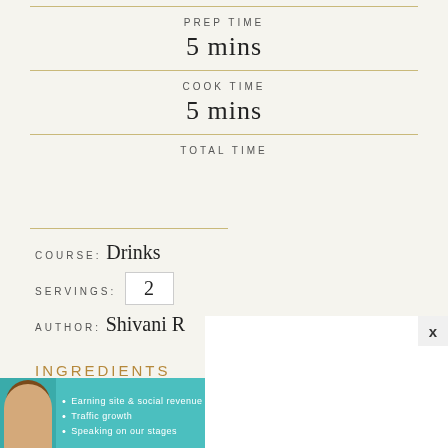PREP TIME
5 mins
COOK TIME
5 mins
TOTAL TIME
COURSE: Drinks
SERVINGS: 2
AUTHOR: Shivani R
INGREDIENTS
[Figure (infographic): Advertisement banner for SHE Media Partner Network featuring a woman's photo, bullet points about earning site & social revenue, traffic growth, and speaking on stages, with a LEARN MORE button]